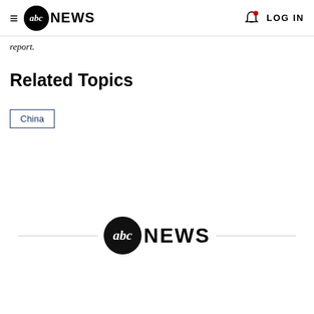abc NEWS — LOG IN
report.
Related Topics
China
abc NEWS